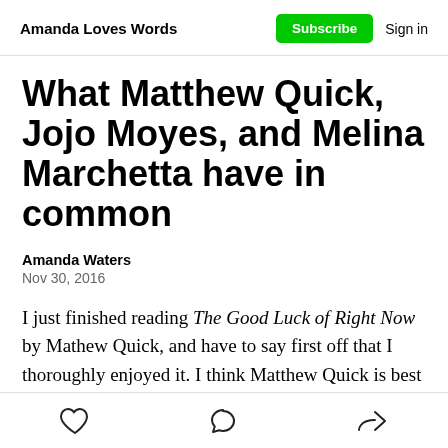Amanda Loves Words | Subscribe | Sign in
What Matthew Quick, Jojo Moyes, and Melina Marchetta have in common
Amanda Waters
Nov 30, 2016
I just finished reading The Good Luck of Right Now by Mathew Quick, and have to say first off that I thoroughly enjoyed it. I think Matthew Quick is best known for The Silver Linings Playbook, which I
♡  ◯  ↗